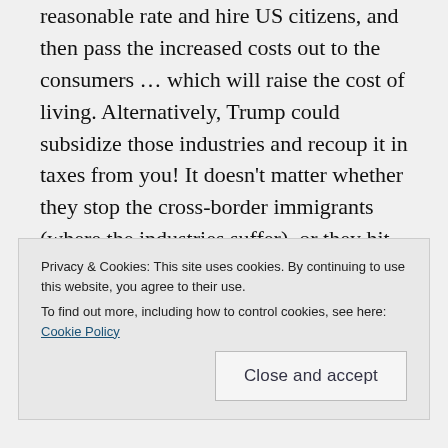reasonable rate and hire US citizens, and then pass the increased costs out to the consumers … which will raise the cost of living. Alternatively, Trump could subsidize those industries and recoup it in taxes from you! It doesn't matter whether they stop the cross-border immigrants (where the industries suffer), or they hit the industries hard for illegal hiring (where the industries suffer)! What kind of incompetents do you have in office that cannot see alternative
Privacy & Cookies: This site uses cookies. By continuing to use this website, you agree to their use.
To find out more, including how to control cookies, see here: Cookie Policy